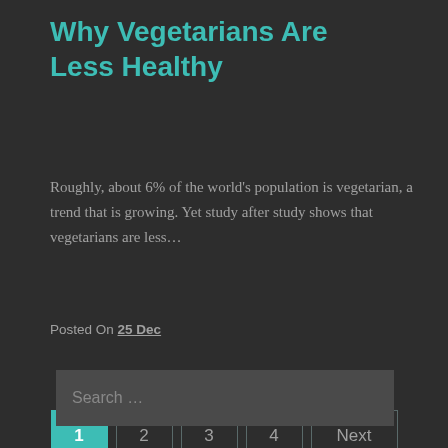Why Vegetarians Are Less Healthy
Roughly, about 6% of the world's population is vegetarian, a trend that is growing. Yet study after study shows that vegetarians are less…
Posted On 25 Dec
1 2 3 4 Next
Search …